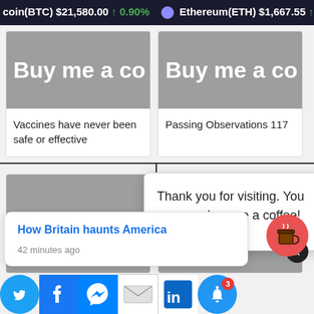coin(BTC) $21,580.00 ↑ 0.90% Ethereum(ETH) $1,667.55 ↑ 2.7
[Figure (screenshot): Buy me a coffee banner image (left card, top)]
Vaccines have never been safe or effective
[Figure (screenshot): Buy me a coffee banner image (right card, top)]
Passing Observations 117
[Figure (screenshot): Buy me a coffee partial banner image (left card, bottom row)]
Thank you for visiting. You can now buy me a coffee!
[Figure (screenshot): Buy me a coffee partial banner image (right card, bottom row), partially hidden]
Covid Truth
How Britain haunts America
42 minutes ago
Social share icons: Twitter, Facebook, Messenger, Email, LinkedIn, Notification bell (3)